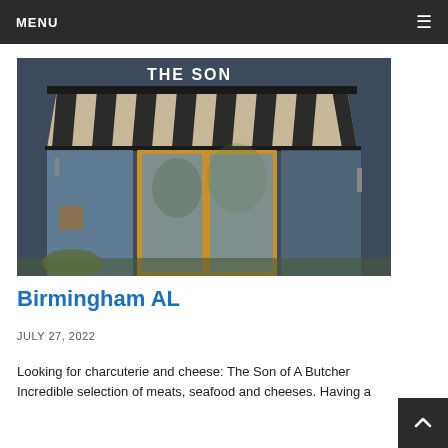MENU
[Figure (photo): Exterior storefront of 'The Son' shop with dark navy/charcoal walls, a striped black and tan awning, yellow-framed glass doors and windows, and some greenery in front.]
Birmingham AL
JULY 27, 2022
Looking for charcuterie and cheese: The Son of A Butcher Incredible selection of meats, seafood and cheeses. Having a